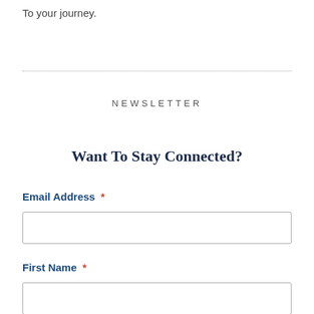To your journey.
NEWSLETTER
Want To Stay Connected?
Email Address *
First Name *